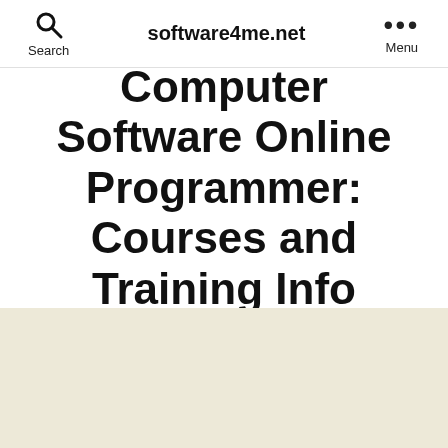Search | software4me.net | Menu
Computer Software Online Programmer: Courses and Training Info